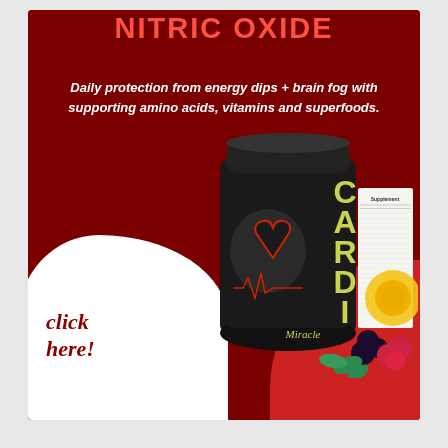NITRIC OXIDE
Daily protection from energy dips + brain fog with supporting amino acids, vitamins and superfoods.
[Figure (photo): Cardio Miracle supplement powder container (black tub) with heart anatomy graphic and 'CARDIO Miracle' branding, surrounded by fruits including pineapple, blackberries, raspberries, and mint leaves]
click here!